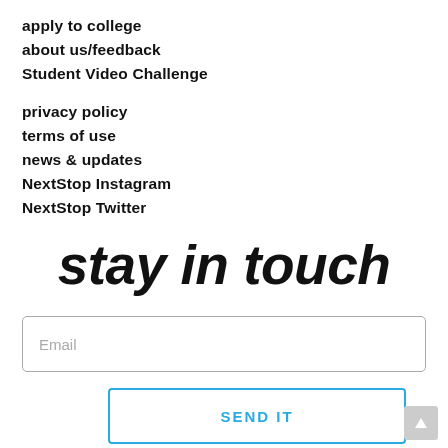apply to college
about us/feedback
Student Video Challenge
privacy policy
terms of use
news & updates
NextStop Instagram
NextStop Twitter
stay in touch
Email
SEND IT